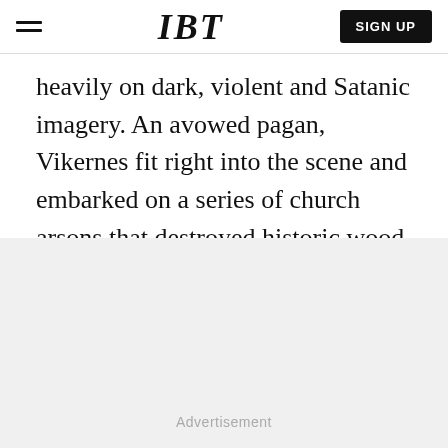IBT | SIGN UP
heavily on dark, violent and Satanic imagery. An avowed pagan, Vikernes fit right into the scene and embarked on a series of church arsons that destroyed historic wood stave churches across the country.
Advertisement